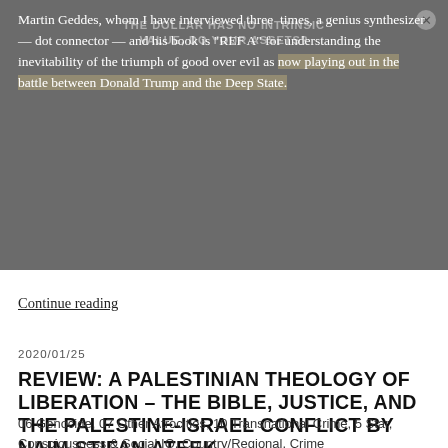Martin Geddes, whom I have interviewed three times, a genius synthesizer — dot connector — and his book is "REF A" for understanding the inevitability of the triumph of good over evil as now playing out in the battle between Donald Trump and the Deep State.
Continue reading
2020/01/25
REVIEW: A PALESTINIAN THEOLOGY OF LIBERATION – THE BIBLE, JUSTICE, AND THE PALESTINE-ISRAEL CONFLICT BY NAIM STIFAN ATEEK
06 Genocide, 07 Other Atrocities, 10 Transnational Crime, 5 Star, Consciousness & Social IQ, Country/Regional, Crime (Organized)